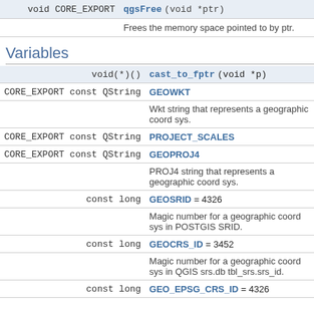| Type | Name/Description |
| --- | --- |
| void CORE_EXPORT | qgsFree (void *ptr) |
|  | Frees the memory space pointed to by ptr. |
Variables
| Type | Name/Description |
| --- | --- |
| void(*)() | cast_to_fptr (void *p) |
| CORE_EXPORT const QString | GEOWKT |
|  | Wkt string that represents a geographic coord sys. |
| CORE_EXPORT const QString | PROJECT_SCALES |
| CORE_EXPORT const QString | GEOPROJ4 |
|  | PROJ4 string that represents a geographic coord sys. |
| const long | GEOSRID = 4326 |
|  | Magic number for a geographic coord sys in POSTGIS SRID. |
| const long | GEOCRS_ID = 3452 |
|  | Magic number for a geographic coord sys in QGIS srs.db tbl_srs.srs_id. |
| const long | GEO_EPSG_CRS_ID = 4326 |